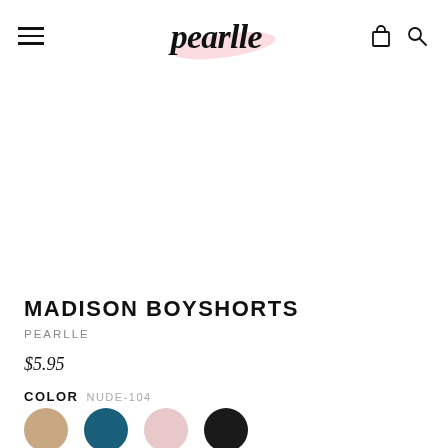pearlle — navigation header with hamburger menu, logo, cart and search icons
[Figure (photo): Product image area for Madison Boyshorts (white/blank background — image not loaded)]
MADISON BOYSHORTS
PEARLLE
$5.95
COLOR NUDE-104
[Figure (other): Four color swatches: nude/tan, teal/dark blue, light pink, black]